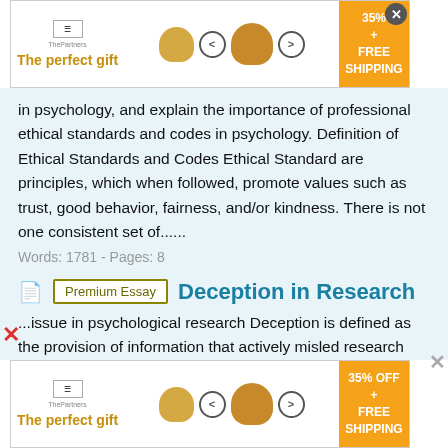[Figure (other): Top advertisement banner: 'The perfect gift' with bowl/food imagery, navigation arrows, 35% free shipping offer box, and close button]
in psychology, and explain the importance of professional ethical standards and codes in psychology. Definition of Ethical Standards and Codes Ethical Standard are principles, which when followed, promote values such as trust, good behavior, fairness, and/or kindness. There is not one consistent set of......
Words: 1781 - Pages: 8
Deception in Research
...issue in psychological research Deception is defined as the provision of information that actively misled research subjects about particular aspects of the study being undertaken, ( as in Hertwig &
[Figure (other): Bottom advertisement banner: 'The perfect gift' with bowl/food imagery, navigation arrows, 35% OFF free shipping offer box]